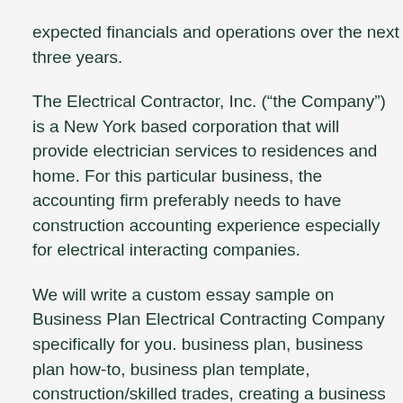expected financials and operations over the next three years.
The Electrical Contractor, Inc. (“the Company”) is a New York based corporation that will provide electrician services to residences and home. For this particular business, the accounting firm preferably needs to have construction accounting experience especially for electrical interacting companies.
We will write a custom essay sample on Business Plan Electrical Contracting Company specifically for you. business plan, business plan how-to, business plan template, construction/skilled trades, creating a business plan, electrician, skilled trades, starting my business plan, writing a business plan Futurpreneur Canada’s Start-Up Program takes your passion and turns it into a reality.